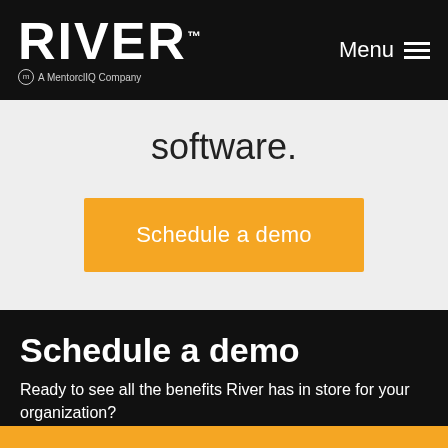[Figure (logo): RIVER logo in bold white block letters with 'A MentorcliQ Company' subtitle on black background]
Menu
software.
Schedule a demo
Schedule a demo
Ready to see all the benefits River has in store for your organization?